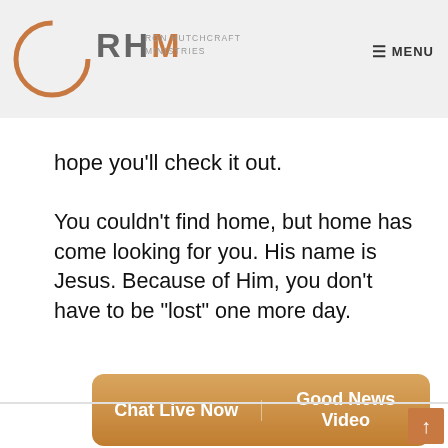RHM RON HUTCHCRAFT MINISTRIES | MENU
hope you'll check it out.
You couldn't find home, but home has come looking for you. His name is Jesus. Because of Him, you don't have to be "lost" one more day.
[Figure (other): CTA button with two options: Chat Live Now and Good News Video]
[Figure (other): Social share buttons: Like 18, Share (Facebook), Tweet, Share (LinkedIn), Save (Pinterest)]